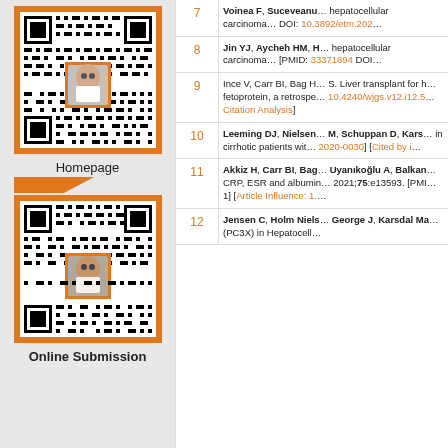[Figure (other): QR code with orange frame and person photo overlay, labeled Homepage]
Homepage
[Figure (other): QR code with orange frame and person photo overlay, labeled Online Submission]
Online Submission
| # | Reference |
| --- | --- |
| 7 | Voinea F, Suceveanu... hepatocellular carcinoma... DOI: 10.3892/etm.202... |
| 8 | Jin YJ, Aycheh HM, H... hepatocellular carcinoma... [PMID: 33371894 DOI... |
| 9 | Ince V, Carr BI, Bag H... S. Liver transplant for h... fetoprotein, a retrospe... 10.4240/wjgs.v12.i12.5... Citation Analysis] |
| 10 | Leeming DJ, Nielsen... M, Schuppan D, Kars... in cirrhotic patients wit... 2020-0030] [Cited by i... |
| 11 | Akkiz H, Carr BI, Bag... Uyanıkoğlu A, Balkan... CRP, ESR and albumin... 2021;75:e13593. [PMI... 1] [Article Influence: 1.... |
| 12 | Jensen C, Holm Niels... George J, Karsdal Ma... (PC3X) in Hepatocell... |